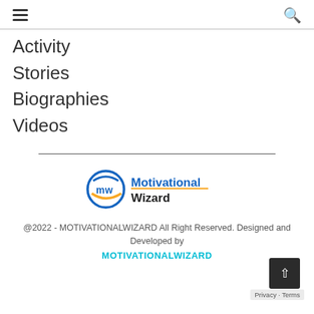☰ [hamburger menu] | 🔍 [search icon]
Activity
Stories
Biographies
Videos
[Figure (logo): Motivational Wizard logo — circular MW emblem with blue arc and yellow swoosh, followed by text 'Motivational Wizard' in blue and black]
@2022 - MOTIVATIONALWIZARD All Right Reserved. Designed and Developed by MOTIVATIONALWIZARD